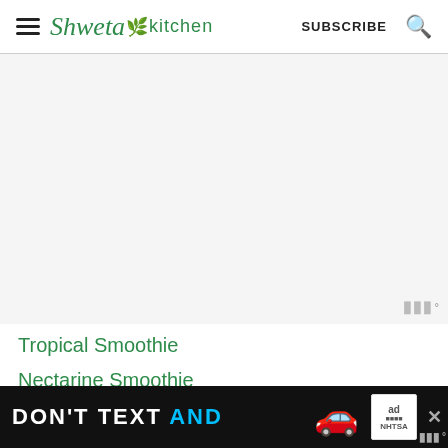Shweta in Kitchen | SUBSCRIBE
[Figure (other): Gray advertisement placeholder area with Mediavine badge in bottom right corner]
Tropical Smoothie
Nectarine Smoothie
[Figure (other): DON'T TEXT AND [car image] advertisement banner by NHTSA at bottom of page]